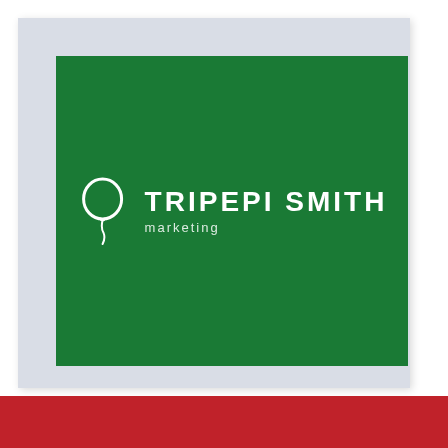[Figure (logo): Tripepi Smith marketing logo — white balloon icon with company name 'TRIPEPI SMITH' in bold white uppercase letters and 'marketing' in smaller white italic text below, centered on a dark green rectangular background inside a light blue card.]